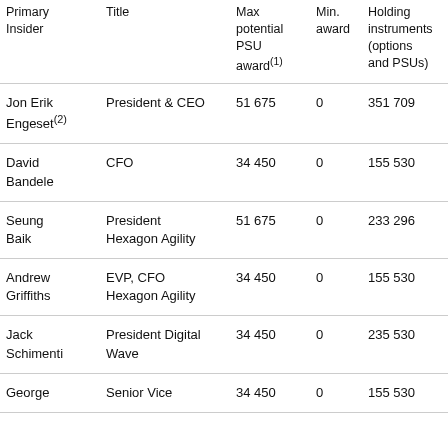| Primary Insider | Title | Max potential PSU award(1) | Min. award | Holding instruments (options and PSUs) |
| --- | --- | --- | --- | --- |
| Jon Erik Engeset(2) | President & CEO | 51 675 | 0 | 351 709 |
| David Bandele | CFO | 34 450 | 0 | 155 530 |
| Seung Baik | President Hexagon Agility | 51 675 | 0 | 233 296 |
| Andrew Griffiths | EVP, CFO Hexagon Agility | 34 450 | 0 | 155 530 |
| Jack Schimenti | President Digital Wave | 34 450 | 0 | 235 530 |
| George | Senior Vice | 34 450 | 0 | 155 530 |